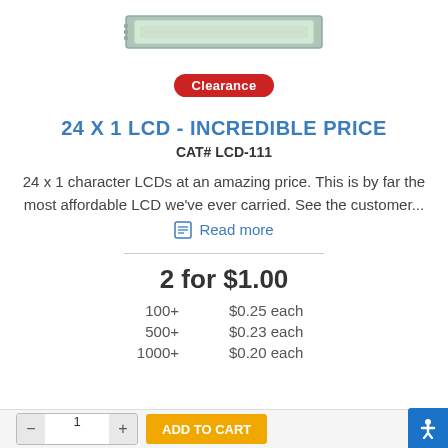[Figure (photo): LCD module - a 24x1 character LCD display shown horizontally, with green/grey tint and white background]
Clearance
24 X 1 LCD - INCREDIBLE PRICE
CAT# LCD-111
24 x 1 character LCDs at an amazing price. This is by far the most affordable LCD we've ever carried. See the customer...
Read more
2 for $1.00
100+   $0.25 each
500+   $0.23 each
1000+  $0.20 each